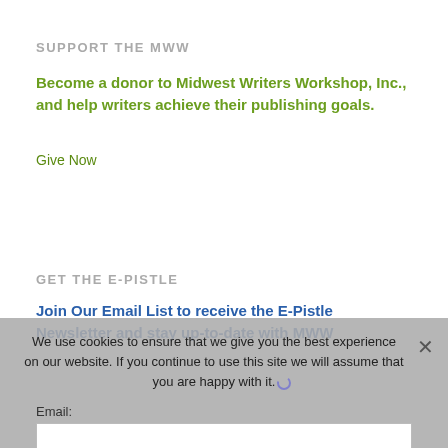SUPPORT THE MWW
Become a donor to Midwest Writers Workshop, Inc., and help writers achieve their publishing goals.
Give Now
GET THE E-PISTLE
Join Our Email List to receive the E-Pistle Newsletter and stay up-to-date with MWW
We use cookies to ensure that we give you the best experience on our website. If you continue to use this site we will assume that you are happy with it.
Email:
Join